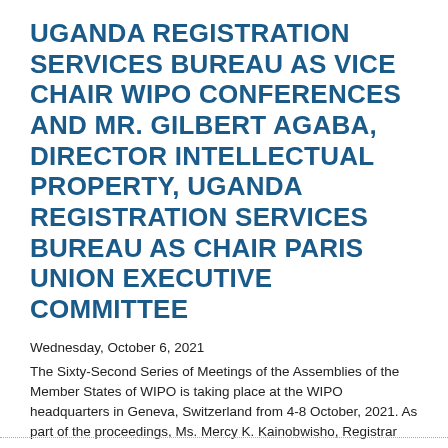UGANDA REGISTRATION SERVICES BUREAU AS VICE CHAIR WIPO CONFERENCES AND MR. GILBERT AGABA, DIRECTOR INTELLECTUAL PROPERTY, UGANDA REGISTRATION SERVICES BUREAU AS CHAIR PARIS UNION EXECUTIVE COMMITTEE
Wednesday, October 6, 2021
The Sixty-Second Series of Meetings of the Assemblies of the Member States of WIPO is taking place at the WIPO headquarters in Geneva, Switzerland from 4-8 October, 2021. As part of the proceedings, Ms. Mercy K. Kainobwisho, Registrar General,...
Read More >>